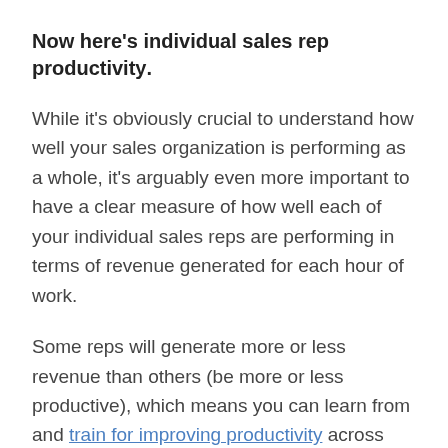Now here's individual sales rep productivity.
While it's obviously crucial to understand how well your sales organization is performing as a whole, it's arguably even more important to have a clear measure of how well each of your individual sales reps are performing in terms of revenue generated for each hour of work.
Some reps will generate more or less revenue than others (be more or less productive), which means you can learn from and train for improving productivity across your team.
Whether your goal is to simply keep a watchful